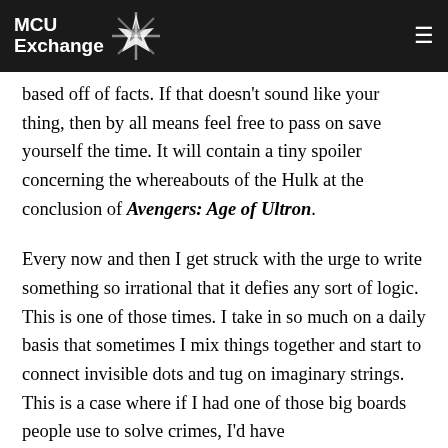MCU Exchange
based off of facts. If that doesn't sound like your thing, then by all means feel free to pass on save yourself the time. It will contain a tiny spoiler concerning the whereabouts of the Hulk at the conclusion of Avengers: Age of Ultron.
Every now and then I get struck with the urge to write something so irrational that it defies any sort of logic. This is one of those times. I take in so much on a daily basis that sometimes I mix things together and start to connect invisible dots and tug on imaginary strings. This is a case where if I had one of those big boards people use to solve crimes, I'd have